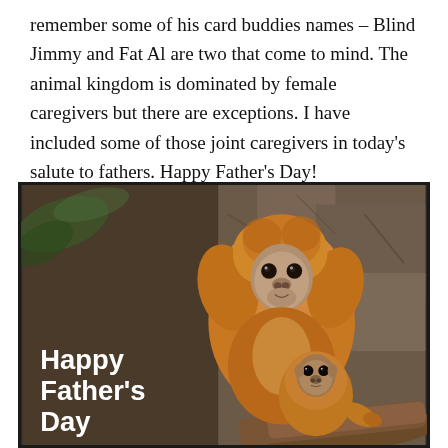remember some of his card buddies names – Blind Jimmy and Fat Al are two that come to mind. The animal kingdom is dominated by female caregivers but there are exceptions. I have included some of those joint caregivers in today's salute to fathers. Happy Father's Day!
[Figure (photo): A golden lion tamarin adult monkey with a baby monkey clinging to its back, set against a rocky/wooden background. Text overlay in white bold reads 'Happy Father's Day'.]